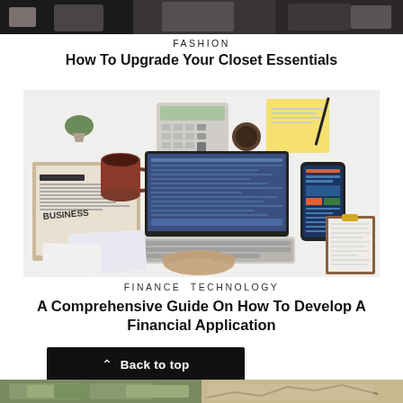[Figure (photo): Partial view of fashion/clothing store or people in dark clothing at top of page]
FASHION
How To Upgrade Your Closet Essentials
[Figure (photo): Overhead view of person typing on laptop at white desk with business newspaper, calculator, coffee cup, phone, clipboard with documents, and sticky notes]
FINANCE TECHNOLOGY
A Comprehensive Guide On How To Develop A Financial Application
Back to top
[Figure (photo): Bottom strip showing partial image related to finance/money]